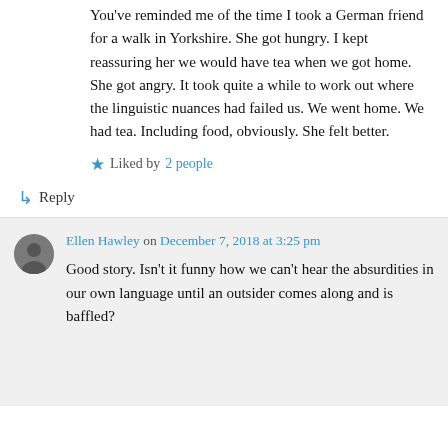You've reminded me of the time I took a German friend for a walk in Yorkshire. She got hungry. I kept reassuring her we would have tea when we got home. She got angry. It took quite a while to work out where the linguistic nuances had failed us. We went home. We had tea. Including food, obviously. She felt better.
★ Liked by 2 people
↳ Reply
Ellen Hawley on December 7, 2018 at 3:25 pm
Good story. Isn't it funny how we can't hear the absurdities in our own language until an outsider comes along and is baffled?